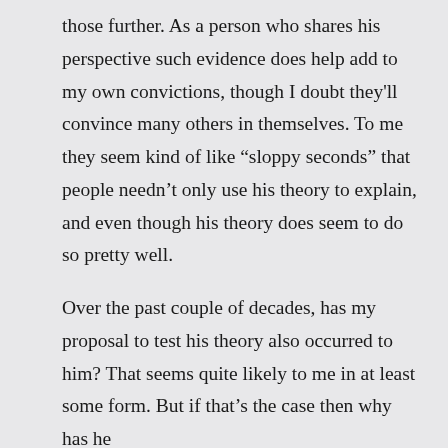those further. As a person who shares his perspective such evidence does help add to my own convictions, though I doubt they'll convince many others in themselves. To me they seem kind of like “sloppy seconds” that people needn’t only use his theory to explain, and even though his theory does seem to do so pretty well.
Over the past couple of decades, has my proposal to test his theory also occurred to him? That seems quite likely to me in at least some form. But if that’s the case then why has he